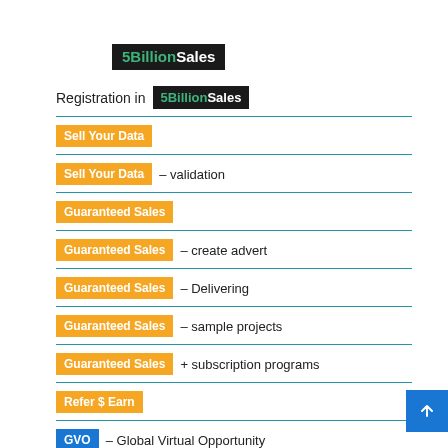5BillionSales
Registration in 5BillionSales
Sell Your Data
Sell Your Data – validation
Guaranteed Sales
Guaranteed Sales – create advert
Guaranteed Sales – Delivering
Guaranteed Sales – sample projects
Guaranteed Sales + subscription programs
Refer $ Earn
GVO – Global Virtual Opportunity